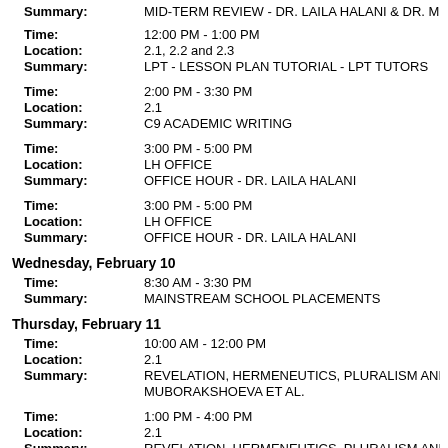Summary: MID-TERM REVIEW - DR. LAILA HALANI & DR. MIKE DIBOLL
Time: 12:00 PM - 1:00 PM
Location: 2.1, 2.2 and 2.3
Summary: LPT - LESSON PLAN TUTORIAL - LPT TUTORS
Time: 2:00 PM - 3:30 PM
Location: 2.1
Summary: C9 ACADEMIC WRITING
Time: 3:00 PM - 5:00 PM
Location: LH OFFICE
Summary: OFFICE HOUR - DR. LAILA HALANI
Time: 3:00 PM - 5:00 PM
Location: LH OFFICE
Summary: OFFICE HOUR - DR. LAILA HALANI
Wednesday, February 10
Time: 8:30 AM - 3:30 PM
Summary: MAINSTREAM SCHOOL PLACEMENTS
Thursday, February 11
Time: 10:00 AM - 12:00 PM
Location: 2.1
Summary: REVELATION, HERMENEUTICS, PLURALISM AND PRACTICE L MUBORAKSHOEVA ET AL.
Time: 1:00 PM - 4:00 PM
Location: 2.1
Summary: REVELATION, HERMENEUTICS, PLURALISM AND PRACTICE S MUBORAKSHOEVA ET AL.